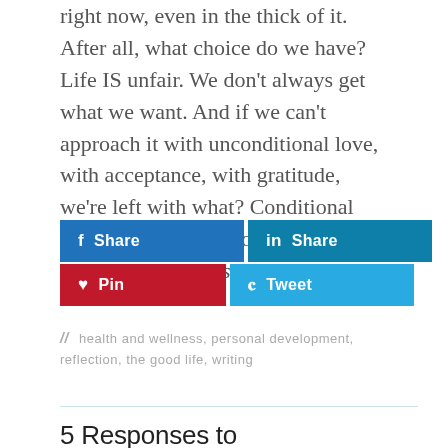right now, even in the thick of it. After all, what choice do we have? Life IS unfair. We don't always get what we want. And if we can't approach it with unconditional love, with acceptance, with gratitude, we're left with what? Conditional fear and misery. I know which I'd rather. Love always wins.
[Figure (other): Social share buttons: Facebook Share, LinkedIn Share, Pinterest Pin, Twitter Tweet]
// health and wellness, personal development, reflection, the good life, writing
5 Responses to